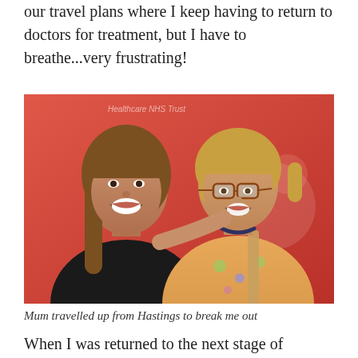our travel plans where I keep having to return to doctors for treatment, but I have to breathe...very frustrating!
[Figure (photo): Two women smiling together in front of a red NHS hospital banner. The woman on the left has long brown hair and is wearing a dark top. The woman on the right has short blonde hair, glasses, and is wearing a floral orange top. The banner in the background reads 'Healthcare NHS Trust' and 'oss Hospital'.]
Mum travelled up from Hastings to break me out
When I was returned to the next stage of recovery, my